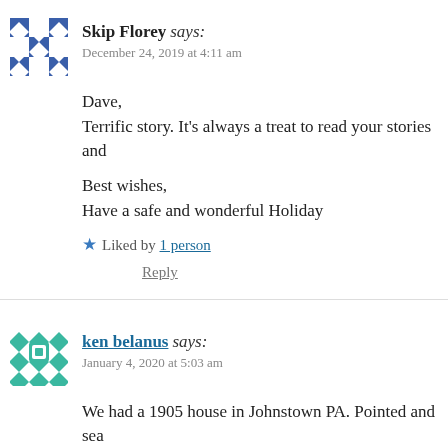Skip Florey says: December 24, 2019 at 4:11 am
Dave,
Terrific story. It's always a treat to read your stories and

Best wishes,
Have a safe and wonderful Holiday
Liked by 1 person
Reply
ken belanus says: January 4, 2020 at 5:03 am
We had a 1905 house in Johnstown PA. Pointed and sea like a slave for six years then moved the day it was fini ceiling because I replaced all 15 others. I sure understa